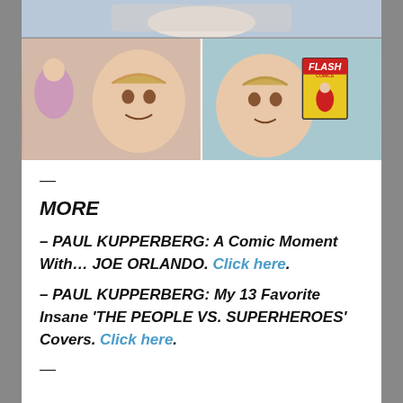[Figure (illustration): Comic book panels showing characters. Top panel shows a figure in action. Bottom two panels show close-up character faces and a Flash Comics book being held.]
—
MORE
– PAUL KUPPERBERG: A Comic Moment With… JOE ORLANDO. Click here.
– PAUL KUPPERBERG: My 13 Favorite Insane 'THE PEOPLE VS. SUPERHEROES' Covers. Click here.
—